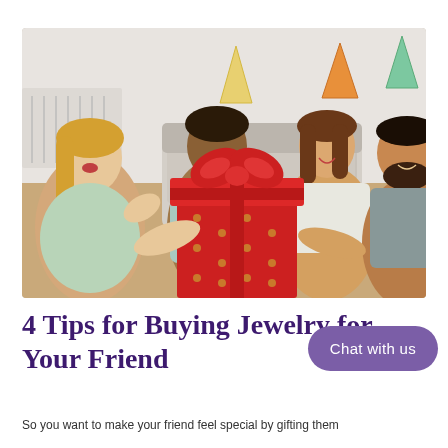[Figure (photo): Four young friends sitting together on a floor, one woman opening a large red gift box with a bow, others wearing party hats and laughing. Indoor setting with a couch in the background.]
4 Tips for Buying Jewelry for Your Friend
So you want to make your friend feel special by gifting them